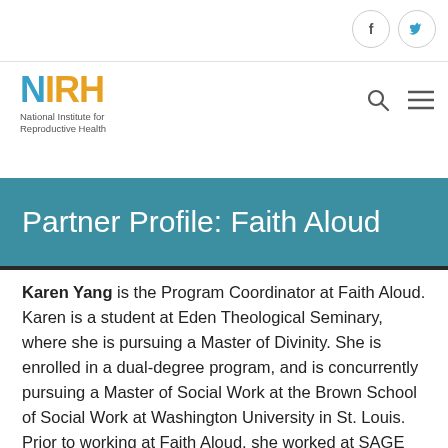[Figure (logo): NIRH logo with colorful letters and subtitle 'National Institute for Reproductive Health']
Partner Profile: Faith Aloud
Karen Yang is the Program Coordinator at Faith Aloud. Karen is a student at Eden Theological Seminary, where she is pursuing a Master of Divinity. She is enrolled in a dual-degree program, and is concurrently pursuing a Master of Social Work at the Brown School of Social Work at Washington University in St. Louis. Prior to working at Faith Aloud, she worked at SAGE Metro St. Louis, which provides services and advocacy to gay, lesbian, bisexual, and transgender older adults. Rev. Rebecca Turner has been Executive Director of